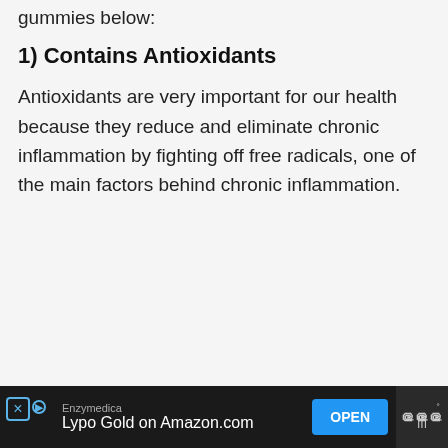gummies below:
1) Contains Antioxidants
Antioxidants are very important for our health because they reduce and eliminate chronic inflammation by fighting off free radicals, one of the main factors behind chronic inflammation.
[Figure (screenshot): Advertisement banner at bottom: Enzymedica Lypo Gold on Amazon.com with OPEN button and WW logo]